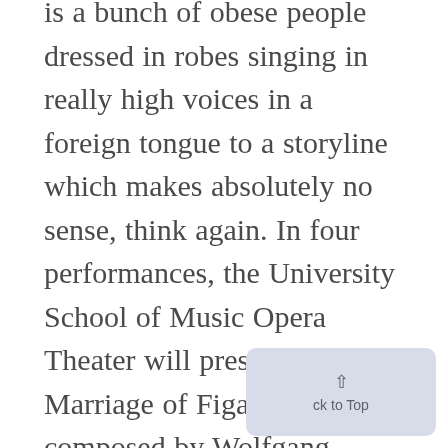is a bunch of obese people dressed in robes singing in really high voices in a foreign tongue to a storyline which makes absolutely no sense, think again. In four performances, the University School of Music Opera Theater will present The Marriage of Figaro, an opera composed by Wolfgang Amadeus Mozart, and will try to clear up most of these. operatic stereotypes. One of the most popular and often performed of Mozart's operas, this story is based upon a comedy